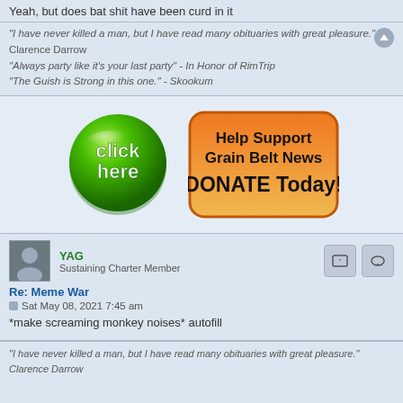Yeah, but does bat shit have been curd in it
"I have never killed a man, but I have read many obituaries with great pleasure." Clarence Darrow
"Always party like it's your last party" - In Honor of RimTrip
"The Guish is Strong in this one." - Skookum
[Figure (illustration): Green glossy 'click here' button and orange rounded rectangle with text 'Help Support Grain Belt News DONATE Today!']
YAG
Sustaining Charter Member
Re: Meme War
Sat May 08, 2021 7:45 am
*make screaming monkey noises* autofill
"I have never killed a man, but I have read many obituaries with great pleasure."
Clarence Darrow